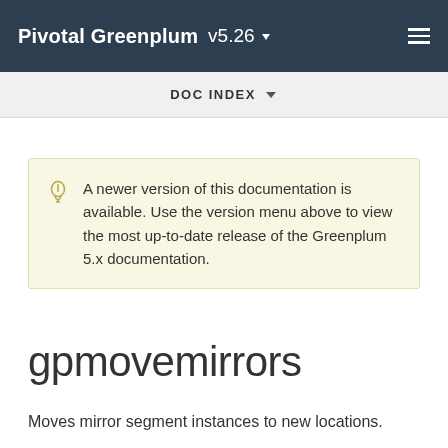Pivotal Greenplum v5.26
DOC INDEX
A newer version of this documentation is available. Use the version menu above to view the most up-to-date release of the Greenplum 5.x documentation.
gpmovemirrors
Moves mirror segment instances to new locations.